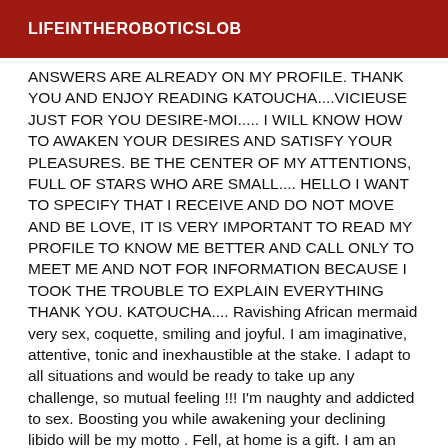LIFEINTHEROBOTICSLOB
ANSWERS ARE ALREADY ON MY PROFILE. THANK YOU AND ENJOY READING KATOUCHA....VICIEUSE JUST FOR YOU DESIRE-MOI..... I WILL KNOW HOW TO AWAKEN YOUR DESIRES AND SATISFY YOUR PLEASURES. BE THE CENTER OF MY ATTENTIONS, FULL OF STARS WHO ARE SMALL.... HELLO I WANT TO SPECIFY THAT I RECEIVE AND DO NOT MOVE AND BE LOVE, IT IS VERY IMPORTANT TO READ MY PROFILE TO KNOW ME BETTER AND CALL ONLY TO MEET ME AND NOT FOR INFORMATION BECAUSE I TOOK THE TROUBLE TO EXPLAIN EVERYTHING THANK YOU. KATOUCHA.... Ravishing African mermaid very sex, coquette, smiling and joyful. I am imaginative, attentive, tonic and inexhaustible at the stake. I adapt to all situations and would be ready to take up any challenge, so mutual feeling !!! I'm naughty and addicted to sex. Boosting you while awakening your declining libido will be my motto . Fell, at home is a gift. I am an